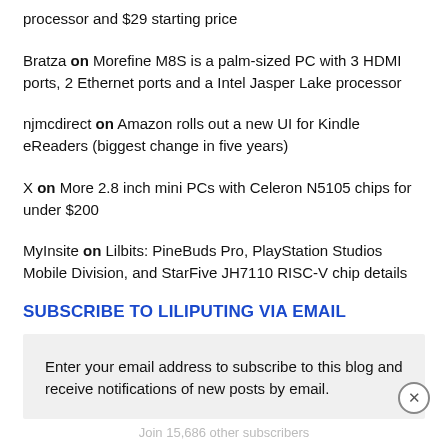processor and $29 starting price
Bratza on Morefine M8S is a palm-sized PC with 3 HDMI ports, 2 Ethernet ports and a Intel Jasper Lake processor
njmcdirect on Amazon rolls out a new UI for Kindle eReaders (biggest change in five years)
X on More 2.8 inch mini PCs with Celeron N5105 chips for under $200
MyInsite on Lilbits: PineBuds Pro, PlayStation Studios Mobile Division, and StarFive JH7110 RISC-V chip details
SUBSCRIBE TO LILIPUTING VIA EMAIL
Enter your email address to subscribe to this blog and receive notifications of new posts by email.
Join 15,686 other subscribers